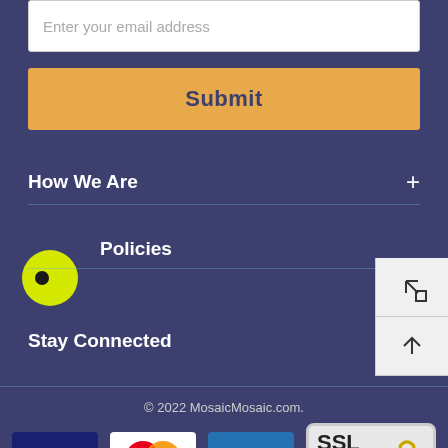Enter your email address
Submit
How We Are
Policies
Stay Connected
© 2022 MosaicMosaic.com.
[Figure (logo): Payment method logos: VISA, MasterCard, American Express, and SSL Secure Connection badge with padlock icon]